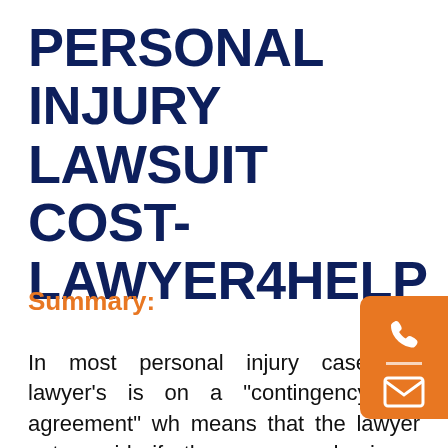PERSONAL INJURY LAWSUIT COST- LAWYER4HELP
Summary:
In most personal injury cases, a lawyer's is on a "contingency fee agreement" wh means that the lawyer gets paid if the case ends in a settlement or victory. There is some small amount, a quarter or half percent of fees collected for victories in personal injury cases, but it is only a small percentage. If the